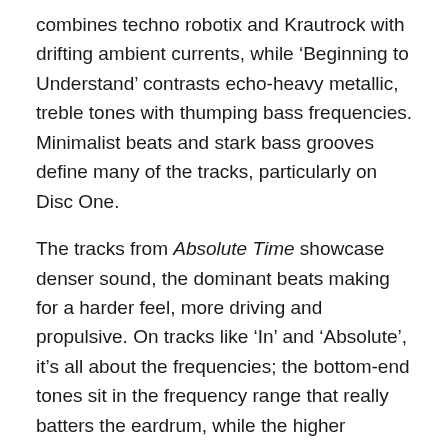combines techno robotix and Krautrock with drifting ambient currents, while ‘Beginning to Understand’ contrasts echo-heavy metallic, treble tones with thumping bass frequencies. Minimalist beats and stark bass grooves define many of the tracks, particularly on Disc One.
The tracks from Absolute Time showcase denser sound, the dominant beats making for a harder feel, more driving and propulsive. On tracks like ‘In’ and ‘Absolute’, it’s all about the frequencies; the bottom-end tones sit in the frequency range that really batters the eardrum, while the higher frequencies are cosseted in dense aural cushions while stomping 4/4 beats bump and grind hard.
The output from the years ‘96-‘98 are given less extensive coverage, with, for example, only two tracks apiece from Specific Momentific, Bodymapping, and Busca Invisibles